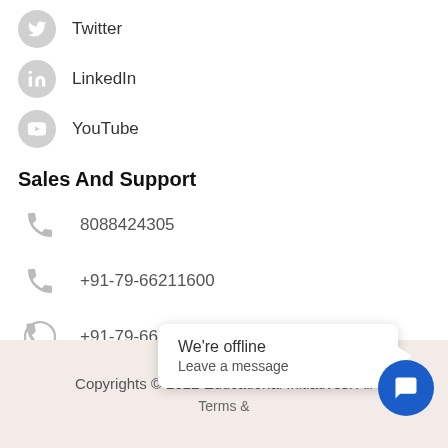Twitter
LinkedIn
YouTube
Sales And Support
8088424305
+91-79-66211600
+91-79-66211700
info@ei.study
Copyrights © 2022 Educational Initiatives. All
Terms &
We're offline
Leave a message